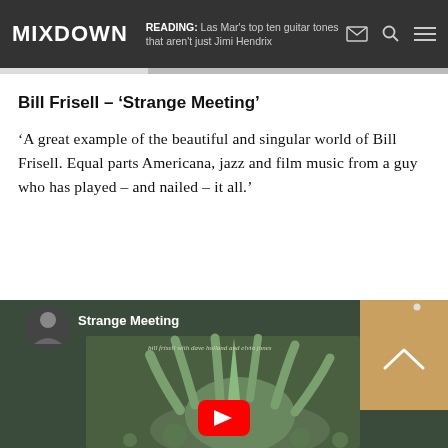MIXDOWN | READING: Las Mar's top ten guitar tones that aren't just Jimi Hendrix
Bill Frisell – ‘Strange Meeting’
‘A great example of the beautiful and singular world of Bill Frisell. Equal parts Americana, jazz and film music from a guy who has played – and nailed – it all.’
[Figure (screenshot): YouTube video embed for Bill Frisell Strange Meeting, showing album art with tentacled creature illustration, channel avatar, video title 'Strange Meeting', YouTube play button, and a gold/tan sidebar panel with upward chevron arrow.]